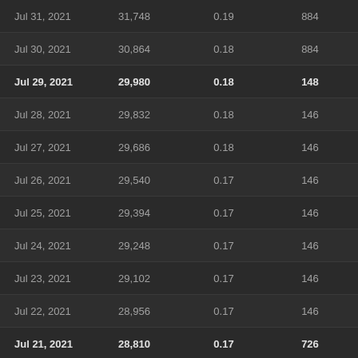| Date | Value1 | Value2 | Value3 |
| --- | --- | --- | --- |
| Jul 31, 2021 | 31,748 | 0.19 | 884 |
| Jul 30, 2021 | 30,864 | 0.18 | 884 |
| Jul 29, 2021 | 29,980 | 0.18 | 148 |
| Jul 28, 2021 | 29,832 | 0.18 | 146 |
| Jul 27, 2021 | 29,686 | 0.18 | 146 |
| Jul 26, 2021 | 29,540 | 0.17 | 146 |
| Jul 25, 2021 | 29,394 | 0.17 | 146 |
| Jul 24, 2021 | 29,248 | 0.17 | 146 |
| Jul 23, 2021 | 29,102 | 0.17 | 146 |
| Jul 22, 2021 | 28,956 | 0.17 | 146 |
| Jul 21, 2021 | 28,810 | 0.17 | 726 |